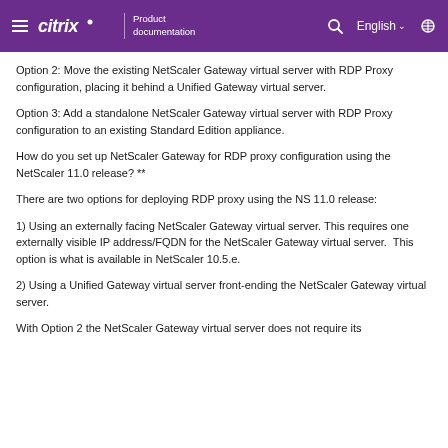Citrix Product documentation
Option 2: Move the existing NetScaler Gateway virtual server with RDP Proxy configuration, placing it behind a Unified Gateway virtual server.
Option 3: Add a standalone NetScaler Gateway virtual server with RDP Proxy configuration to an existing Standard Edition appliance.
How do you set up NetScaler Gateway for RDP proxy configuration using the NetScaler 11.0 release? **
There are two options for deploying RDP proxy using the NS 11.0 release:
1) Using an externally facing NetScaler Gateway virtual server. This requires one externally visible IP address/FQDN for the NetScaler Gateway virtual server.  This option is what is available in NetScaler 10.5.e.
2) Using a Unified Gateway virtual server front-ending the NetScaler Gateway virtual server.
With Option 2 the NetScaler Gateway virtual server does not require its own IP address/FQDN (it can use the same IP address as the Unified Gateway virtual server).